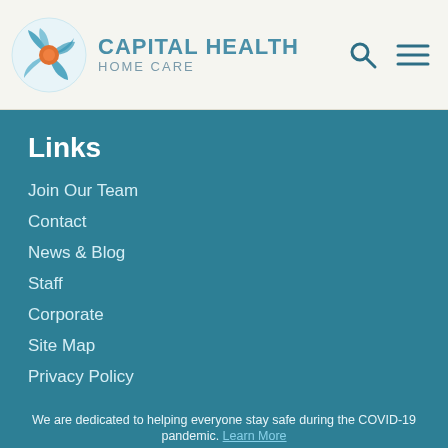[Figure (logo): Capital Health Home Care logo with blue swirl graphic and company name]
Links
Join Our Team
Contact
News & Blog
Staff
Corporate
Site Map
Privacy Policy
Our Locations
Ashtabula
We are dedicated to helping everyone stay safe during the COVID-19 pandemic. Learn More